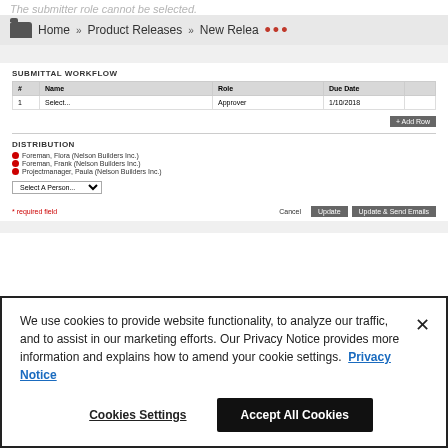The submitter role cannot be selected.
[Figure (screenshot): Navigation breadcrumb bar with folder icon, Home, Product Releases, New Relea... and orange ellipsis dots]
SUBMITTAL WORKFLOW
| # | Name | Role | Due Date |
| --- | --- | --- | --- |
| 1 | Select... | Approver | 1/10/2018 |
DISTRIBUTION
Foreman, Flora (Nelson Builders Inc.)
Foreman, Frank (Nelson Builders Inc.)
Projectmanager, Paula (Nelson Builders Inc.)
* required field
We use cookies to provide website functionality, to analyze our traffic, and to assist in our marketing efforts. Our Privacy Notice provides more information and explains how to amend your cookie settings. Privacy Notice
Cookies Settings
Accept All Cookies